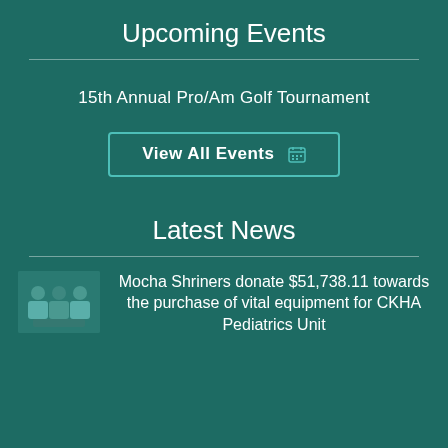Upcoming Events
15th Annual Pro/Am Golf Tournament
View All Events
Latest News
Mocha Shriners donate $51,738.11 towards the purchase of vital equipment for CKHA Pediatrics Unit